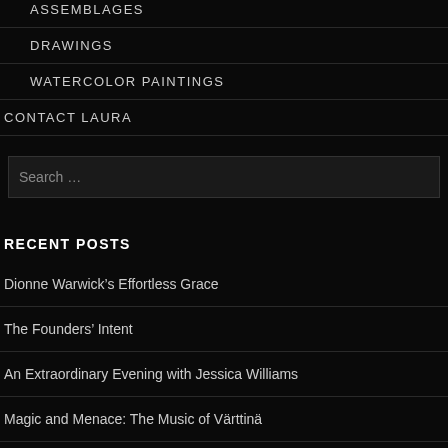ASSEMBLAGES
DRAWINGS
WATERCOLOR PAINTINGS
CONTACT LAURA
Search …
RECENT POSTS
Dionne Warwick's Effortless Grace
The Founders' Intent
An Extraordinary Evening with Jessica Williams
Magic and Menace: The Music of Värttinä